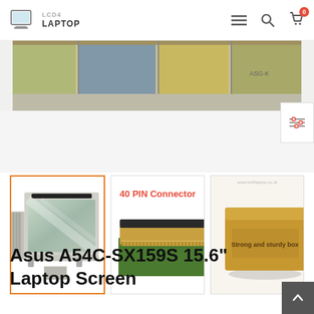LCD4LAPTOP
[Figure (photo): Cropped top portion of LCD laptop screen product image showing the screen panel from above]
[Figure (photo): Thumbnail 1 (active/selected): laptop LCD screen panel, 15.6 inch, showing the panel face with cable]
[Figure (photo): Thumbnail 2: 40 PIN Connector close-up showing gold connector strip on green PCB board]
[Figure (photo): Thumbnail 3: Brown cardboard box labeled 'Strong and sturdy box']
Asus A54C-SX159S 15.6" Laptop Screen